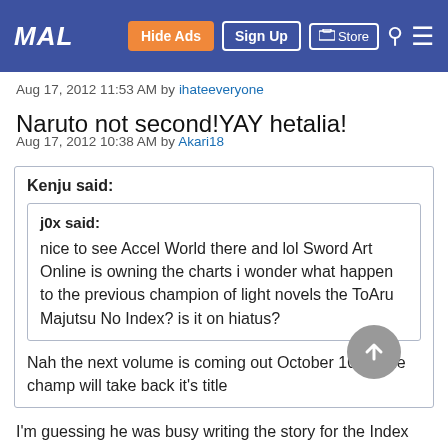MAL | Hide Ads | Sign Up | Store
Aug 17, 2012 11:53 AM by ihateeveryone
Naruto not second!YAY hetalia!
Aug 17, 2012 10:38 AM by Akari18
Kenju said:
j0x said:
nice to see Accel World there and lol Sword Art Online is owning the charts i wonder what happen to the previous champion of light novels the ToAru Majutsu No Index? is it on hiatus?

Nah the next volume is coming out October 10th. The champ will take back it's title
I'm guessing he was busy writing the story for the Index